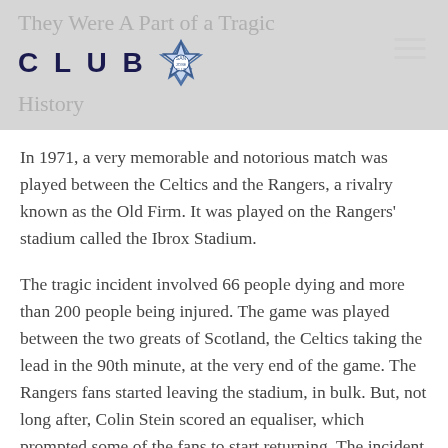They Were A Part of a Tragic CLUB History
In 1971, a very memorable and notorious match was played between the Celtics and the Rangers, a rivalry known as the Old Firm. It was played on the Rangers' stadium called the Ibrox Stadium.
The tragic incident involved 66 people dying and more than 200 people being injured. The game was played between the two greats of Scotland, the Celtics taking the lead in the 90th minute, at the very end of the game. The Rangers fans started leaving the stadium, in bulk. But, not long after, Colin Stein scored an equaliser, which prompted some of the fans to start returning. The incident took place on stairway 13, no less. It was said